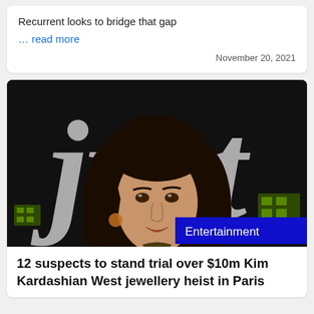Recurrent looks to bridge that gap
... read more
November 20, 2021
[Figure (photo): A woman with long dark wavy hair wearing a gold/bronze patterned long-sleeve top, hand on chest, sitting in front of a dark background with large white italic letters partially visible. An 'Entertainment' badge appears in the bottom right corner of the image.]
12 suspects to stand trial over $10m Kim Kardashian West jewellery heist in Paris